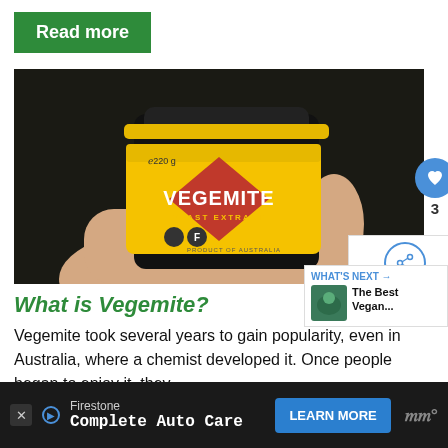Read more
[Figure (photo): A hand holding a yellow jar of Vegemite Yeast Extract 220g against a dark background]
What is Vegemite?
Vegemite took several years to gain popularity, even in Australia, where a chemist developed it. Once people began to enjoy it, they se... d... W...
[Figure (screenshot): WHAT'S NEXT - The Best Vegan... promotional widget with thumbnail]
[Figure (screenshot): Advertisement bar: Firestone Complete Auto Care - LEARN MORE]